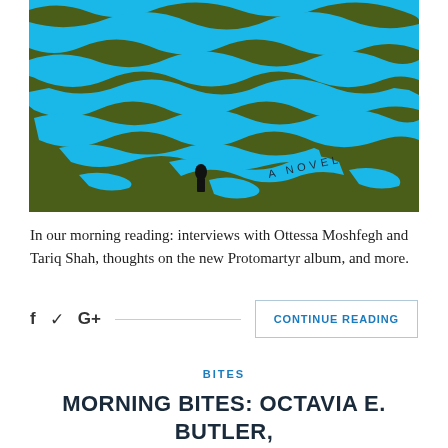[Figure (illustration): Book cover illustration on dark olive/green background with abstract blue water/river shapes and a small black silhouette of a person standing in the water. Text 'A NOVEL' appears in an arc near the bottom right of the image.]
In our morning reading: interviews with Ottessa Moshfegh and Tariq Shah, thoughts on the new Protomartyr album, and more.
f  ✓  G+  ——————————————————  CONTINUE READING
BITES
MORNING BITES: OCTAVIA E. BUTLER, TARIQ SHAH'S NOVEL, JARVIS COCKER, MEREDITH TALUSAN INTERVIEWED, AND